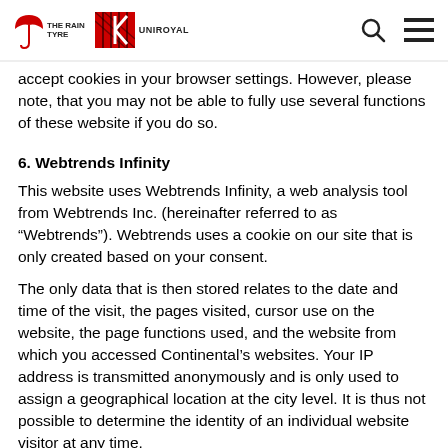THE RAIN TYRE UNIROYAL
accept cookies in your browser settings. However, please note, that you may not be able to fully use several functions of these website if you do so.
6. Webtrends Infinity
This website uses Webtrends Infinity, a web analysis tool from Webtrends Inc. (hereinafter referred to as “Webtrends”). Webtrends uses a cookie on our site that is only created based on your consent.
The only data that is then stored relates to the date and time of the visit, the pages visited, cursor use on the website, the page functions used, and the website from which you accessed Continental’s websites. Your IP address is transmitted anonymously and is only used to assign a geographical location at the city level. It is thus not possible to determine the identity of an individual website visitor at any time.